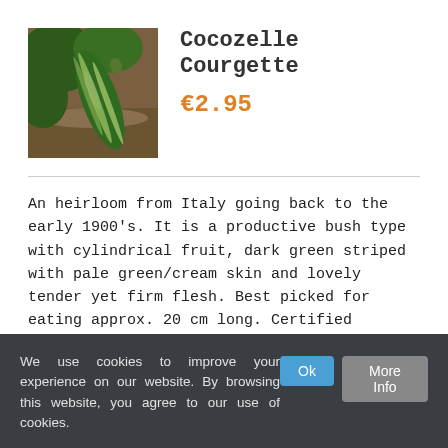[Figure (photo): Photo of cocozelle courgette with dark green and pale green stripes on a soil background with green leaves]
Cocozelle Courgette
€2.95
An heirloom from Italy going back to the early 1900's. It is a productive bush type with cylindrical fruit, dark green striped with pale green/cream skin and lovely tender yet firm flesh. Best picked for eating approx. 20 cm long. Certified Organic
Add to cart   Details
We use cookies to improve your experience on our website. By browsing this website, you agree to our use of cookies.